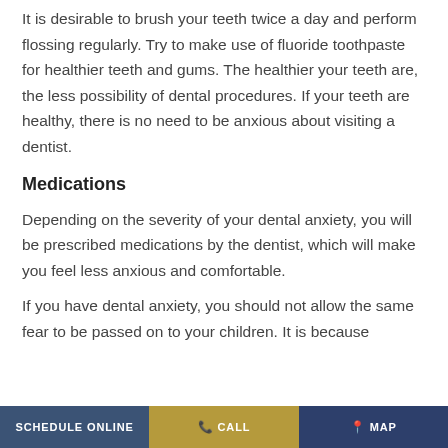It is desirable to brush your teeth twice a day and perform flossing regularly. Try to make use of fluoride toothpaste for healthier teeth and gums. The healthier your teeth are, the less possibility of dental procedures. If your teeth are healthy, there is no need to be anxious about visiting a dentist.
Medications
Depending on the severity of your dental anxiety, you will be prescribed medications by the dentist, which will make you feel less anxious and comfortable.
If you have dental anxiety, you should not allow the same fear to be passed on to your children. It is because
SCHEDULE ONLINE   CALL   MAP